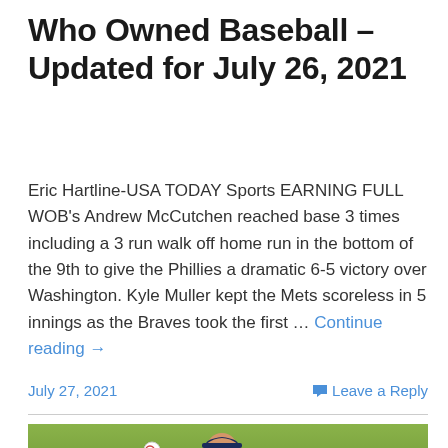Who Owned Baseball – Updated for July 26, 2021
Eric Hartline-USA TODAY Sports EARNING FULL WOB's Andrew McCutchen reached base 3 times including a 3 run walk off home run in the bottom of the 9th to give the Phillies a dramatic 6-5 victory over Washington. Kyle Muller kept the Mets scoreless in 5 innings as the Braves took the first … Continue reading →
July 27, 2021   Leave a Reply
[Figure (photo): Pitcher on a baseball field with green grass background, wearing dark cap and uniform, in mid-throw motion with baseball in left hand]